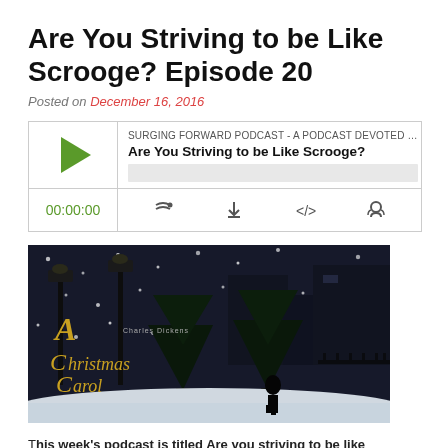Are You Striving to be Like Scrooge? Episode 20
Posted on December 16, 2016
[Figure (screenshot): Podcast audio player widget for 'Are You Striving to be Like Scrooge?' episode on Surging Forward Podcast. Shows play button, episode title, progress bar, timestamp 00:00:00, and media control icons.]
[Figure (photo): Dark winter night scene showing animated/illustrated Christmas Carol movie art. Silhouettes of lampposts, Christmas trees, and a figure against a snowy background. Gold text reads 'A Christmas Carol'.]
This week's podcast is titled Are you striving to be like